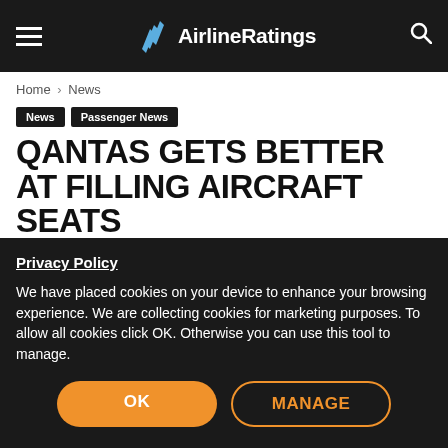AirlineRatings
Home › News
News  Passenger News
QANTAS GETS BETTER AT FILLING AIRCRAFT SEATS
By Steve Creedy  August 24, 2018
Privacy Policy
We have placed cookies on your device to enhance your browsing experience. We are collecting cookies for marketing purposes. To allow all cookies click OK. Otherwise you can use this tool to manage.